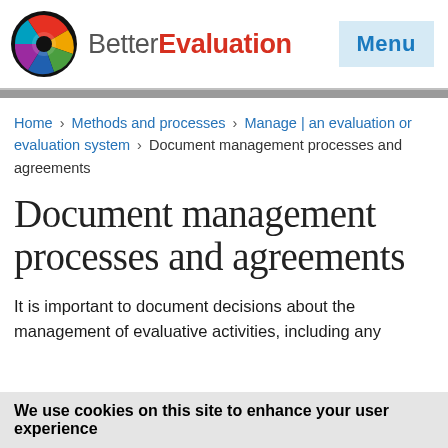BetterEvaluation | Menu
Home › Methods and processes › Manage | an evaluation or evaluation system › Document management processes and agreements
Document management processes and agreements
It is important to document decisions about the management of evaluative activities, including any
We use cookies on this site to enhance your user experience